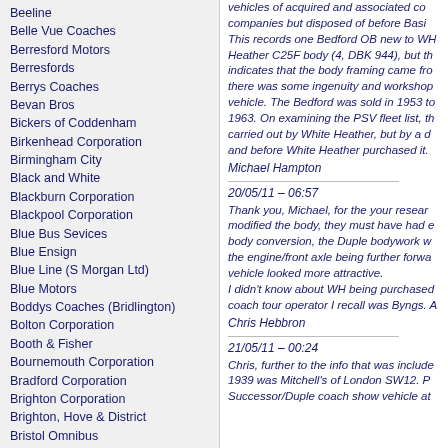Beeline
Belle Vue Coaches
Berresford Motors
Berresfords
Berrys Coaches
Bevan Bros
Bickers of Coddenham
Birkenhead Corporation
Birmingham City
Black and White
Blackburn Corporation
Blackpool Corporation
Blue Bus Sevices
Blue Ensign
Blue Line (S Morgan Ltd)
Blue Motors
Boddys Coaches (Bridlington)
Bolton Corporation
Booth & Fisher
Bournemouth Corporation
Bradford Corporation
Brighton Corporation
Brighton, Hove & District
Bristol Omnibus
Bristol Tramways
British European Airways
British Rail
Brown's Blue Bus
Brutonian
Burnham's Coaches
vehicles of acquired and associated companies but disposed of before Basil... This records one Bedford OB new to WH Heather C25F body (4, DBK 944), but th indicates that the body framing came fro there was some ingenuity and workshop vehicle. The Bedford was sold in 1953 t 1963. On examining the PSV fleet list, th carried out by White Heather, but by a d and before White Heather purchased it.
Michael Hampton
20/05/11 – 06:57
Thank you, Michael, for the your resear modified the body, they must have had e body conversion, the Duple bodywork we the engine/front axle being further forwar vehicle looked more attractive. I didn't know about WH being purchased coach tour operator I recall was Byngs. A
Chris Hebbron
21/05/11 – 00:24
Chris, further to the info that was include 1939 was Mitchell's of London SW12. P Successor/Duple coach show vehicle at